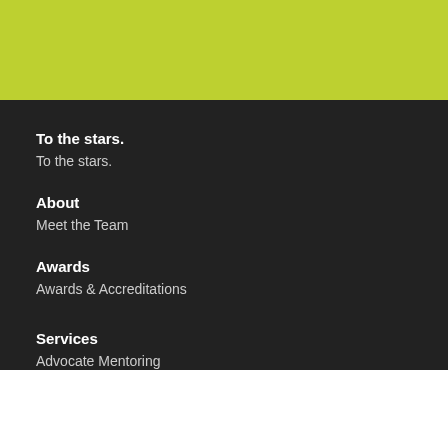[Figure (other): Yellow-green color bar at top of page]
To the stars.
To the stars.
About
Meet the Team
Awards
Awards & Accreditations
Services
Advocate Mentoring